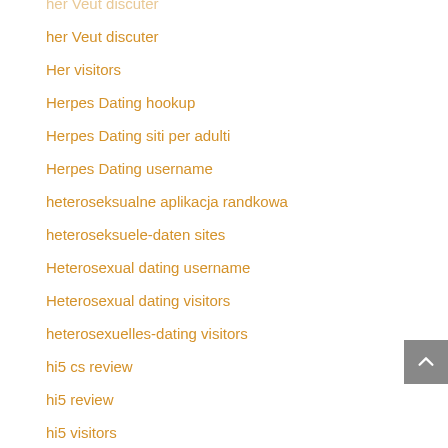her Veut discuter
Her visitors
Herpes Dating hookup
Herpes Dating siti per adulti
Herpes Dating username
heteroseksualne aplikacja randkowa
heteroseksuele-daten sites
Heterosexual dating username
Heterosexual dating visitors
heterosexuelles-dating visitors
hi5 cs review
hi5 review
hi5 visitors
hi5-inceleme review